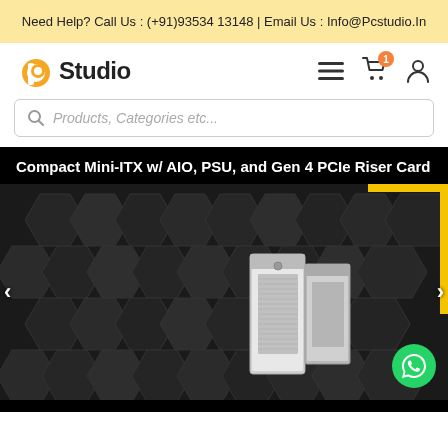Need Help? Call Us : (+91)93534 13148 | Email Us : Info@Pcstudio.In
[Figure (logo): PC Studio logo with orange circle icon and bold text 'PC Studio']
[Figure (screenshot): Navigation icons: hamburger menu, shopping cart with orange badge showing 1, user account icon]
[Figure (screenshot): Search bar with placeholder text 'Products, Categories etc...']
Compact Mini-ITX w/ AIO, PSU, and Gen 4 PCIe Riser Card
[Figure (photo): Product banner image showing a white/silver compact Mini-ITX PC case against a dark geometric hexagonal background with yellow frame accent in top right corner. Left and right navigation arrows visible.]